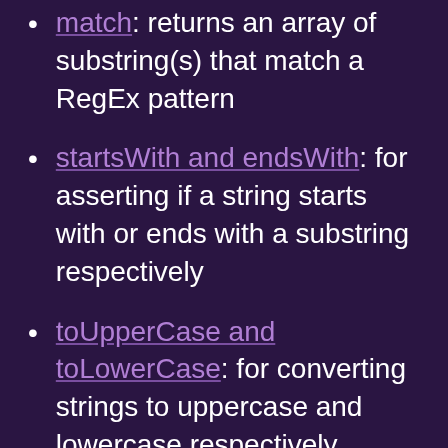match: returns an array of substring(s) that match a RegEx pattern
startsWith and endsWith: for asserting if a string starts with or ends with a substring respectively
toUpperCase and toLowerCase: for converting strings to uppercase and lowercase respectively
includes: for checking if a substring can be found in a string